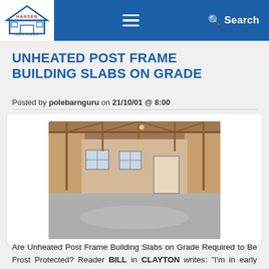Hansen Buildings — Menu — Search
UNHEATED POST FRAME BUILDING SLABS ON GRADE
Posted by polebarnguru on 21/10/01 @ 8:00
[Figure (photo): Interior photo of a post frame building showing concrete slab on grade floor, metal wall panels, exposed wood rafters, windows and a door.]
Are Unheated Post Frame Building Slabs on Grade Required to Be Frost Protected? Reader BILL in CLAYTON writes: "I'm in early planning for a post frame garage – just over 1000 sf but will reduce it if it